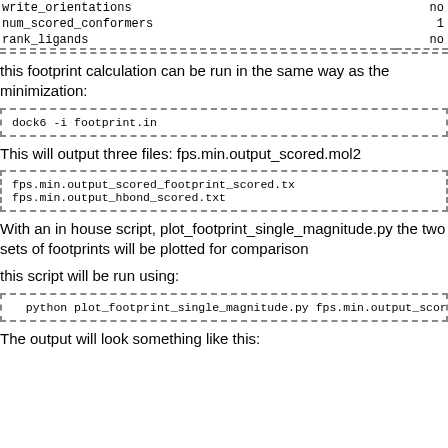| write_orientations | no |
| num_scored_conformers | 1 |
| rank_ligands | no |
this footprint calculation can be run in the same way as the minimization:
dock6 -i footprint.in
This will output three files: fps.min.output_scored.mol2
fps.min.output_scored_footprint_scored.tx
fps.min.output_hbond_scored.txt
With an in house script, plot_footprint_single_magnitude.py the two sets of footprints will be plotted for comparison
this script will be run using:
python plot_footprint_single_magnitude.py fps.min.output_scored_foot
The output will look something like this: